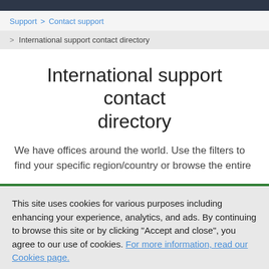Support > Contact support
> International support contact directory
International support contact directory
We have offices around the world. Use the filters to find your specific region/country or browse the entire
This site uses cookies for various purposes including enhancing your experience, analytics, and ads. By continuing to browse this site or by clicking "Accept and close", you agree to our use of cookies. For more information, read our Cookies page.
Accept and close